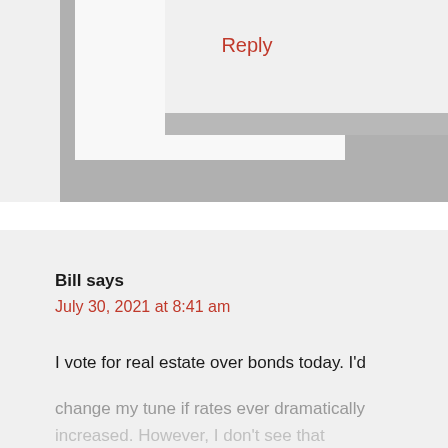[Figure (screenshot): Screenshot of a blog comment section showing a reply button UI element with gray nested boxes]
Reply
Bill says
July 30, 2021 at 8:41 am
I vote for real estate over bonds today. I'd change my tune if rates ever dramatically increased. However, I don't see that